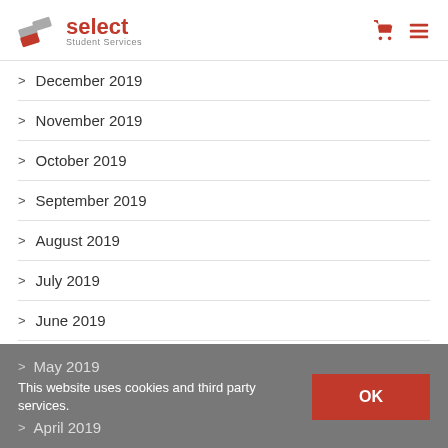Select Student Services — logo and navigation icons
December 2019
November 2019
October 2019
September 2019
August 2019
July 2019
June 2019
May 2019
April 2019
This website uses cookies and third party services.